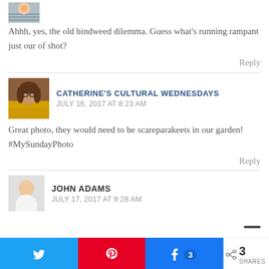[Figure (photo): Small cropped avatar photo at top]
Ahhh, yes, the old bindweed dilemma. Guess what's running rampant just our of shot?
Reply
[Figure (photo): Profile photo of Catherine, woman with glasses and yellow top]
CATHERINE'S CULTURAL WEDNESDAYS
JULY 16, 2017 AT 8:23 AM
Great photo, they would need to be scareparakeets in our garden!
#MySundayPhoto
Reply
[Figure (photo): Profile photo of John Adams, man in white shirt]
JOHN ADAMS
JULY 17, 2017 AT 9:28 AM
3 SHARES